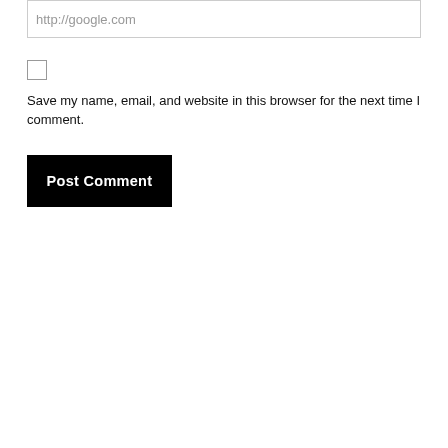[Figure (screenshot): Text input field with placeholder text 'http://google.com']
Save my name, email, and website in this browser for the next time I comment.
[Figure (other): Black 'Post Comment' button]